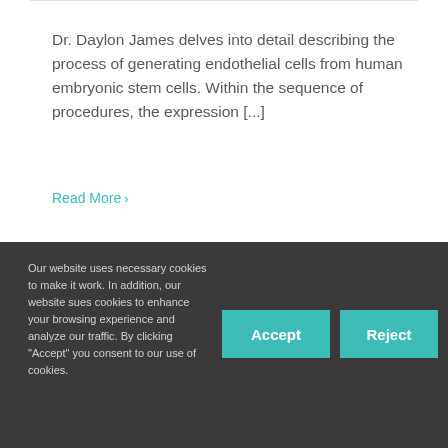Dr. Daylon James delves into detail describing the process of generating endothelial cells from human embryonic stem cells. Within the sequence of procedures, the expression [...]
Read More ›
Our website uses necessary cookies to make it work. In addition, our website sues cookies to enhance your browsing experience and analyze our traffic. By clicking "Accept" you consent to our use of cookies.